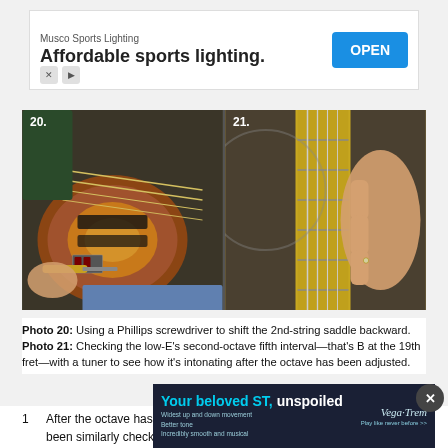[Figure (photo): Advertisement banner: Musco Sports Lighting - Affordable sports lighting. OPEN button.]
[Figure (photo): Photo 20 (left): Person using a Phillips screwdriver to shift the 2nd-string saddle of a bass guitar backward. Photo 21 (right): Close-up of a hand checking the low-E string on a yellow bass guitar neck near the 19th fret.]
Photo 20: Using a Phillips screwdriver to shift the 2nd-string saddle backward. Photo 21: Checking the low-E's second-octave fifth interval—that's B at the 19th fret—with a tuner to see how it's intonating after the octave has been adjusted.
1   After the octave has been checked and adjusted, and all strings have been similarly checked and adjusted, make sure to retune all strings and then play the note at the 12th fret. The open string, play the note at the 12th fret. The open
[Figure (photo): Bottom advertisement overlay: Your beloved ST, unspoiled - Vega-Trem. Widest up and down movement. Better tone. Incredibly smooth and musical. Play like never before.]